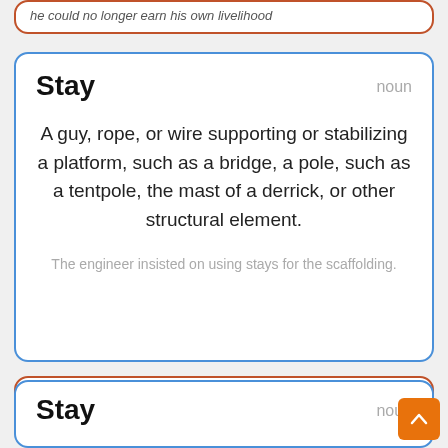he could no longer earn his own livelihood
Stay
noun
A guy, rope, or wire supporting or stabilizing a platform, such as a bridge, a pole, such as a tentpole, the mast of a derrick, or other structural element.
The engineer insisted on using stays for the scaffolding.
Keep
noun
the main tower within the walls of a medieval castle or fortress
Stay
noun